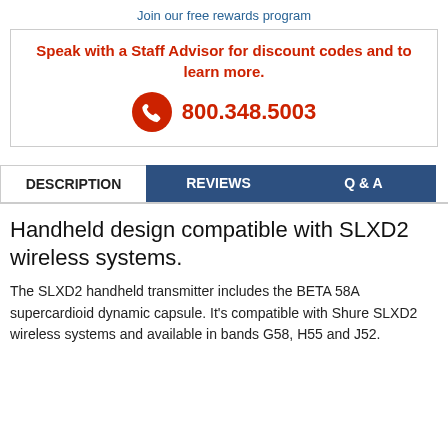Join our free rewards program
Speak with a Staff Advisor for discount codes and to learn more.
800.348.5003
DESCRIPTION | REVIEWS | Q & A
Handheld design compatible with SLXD2 wireless systems.
The SLXD2 handheld transmitter includes the BETA 58A supercardioid dynamic capsule. It's compatible with Shure SLXD2 wireless systems and available in bands G58, H55 and J52.